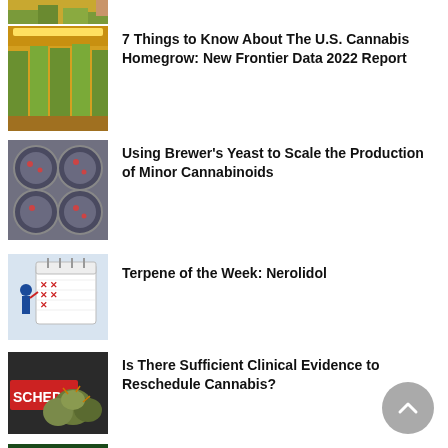[Figure (photo): Partial top crop of a cannabis grow room thumbnail]
7 Things to Know About The U.S. Cannabis Homegrow: New Frontier Data 2022 Report
[Figure (photo): Petri dishes viewed from above, used for brewer's yeast / cannabinoid production article]
Using Brewer's Yeast to Scale the Production of Minor Cannabinoids
[Figure (photo): Illustration of person marking calendar with red X marks]
Terpene of the Week: Nerolidol
[Figure (photo): Cannabis buds with SCHEDULE text overlay, related to rescheduling article]
Is There Sufficient Clinical Evidence to Reschedule Cannabis?
[Figure (photo): Book cover: The Brain on Cannabis, dark green background]
The Brain on Cannabis Book Review